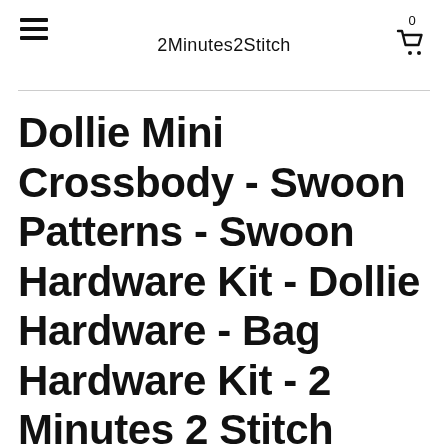2Minutes2Stitch
Dollie Mini Crossbody - Swoon Patterns - Swoon Hardware Kit - Dollie Hardware - Bag Hardware Kit - 2 Minutes 2 Stitch